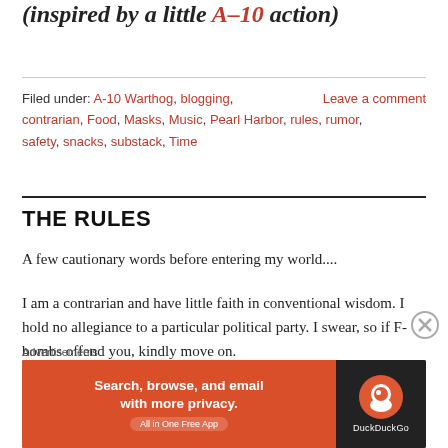(inspired by a little A–10 action)
Filed under: A-10 Warthog, blogging, contrarian, Food, Masks, Music, Pearl Harbor, rules, rumor, safety, snacks, substack, Time    Leave a comment
THE RULES
A few cautionary words before entering my world....
I am a contrarian and have little faith in conventional wisdom. I hold no allegiance to a particular political party. I swear, so if F-bombs offend you, kindly move on.
Advertisements
[Figure (screenshot): DuckDuckGo advertisement banner: orange left panel with text 'Search, browse, and email with more privacy. All in One Free App' and dark right panel with DuckDuckGo logo and name.]